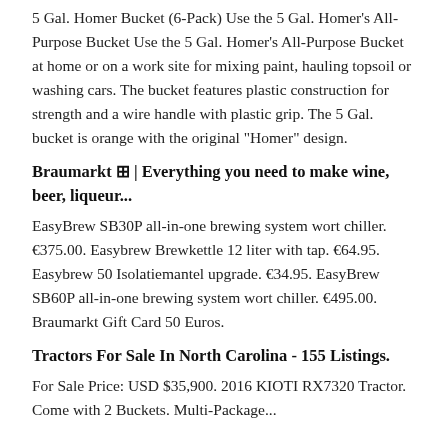5 Gal. Homer Bucket (6-Pack) Use the 5 Gal. Homer's All-Purpose Bucket Use the 5 Gal. Homer's All-Purpose Bucket at home or on a work site for mixing paint, hauling topsoil or washing cars. The bucket features plastic construction for strength and a wire handle with plastic grip. The 5 Gal. bucket is orange with the original "Homer" design.
Braumarkt ⊞ | Everything you need to make wine, beer, liqueur...
EasyBrew SB30P all-in-one brewing system wort chiller. €375.00. Easybrew Brewkettle 12 liter with tap. €64.95. Easybrew 50 Isolatiemantel upgrade. €34.95. EasyBrew SB60P all-in-one brewing system wort chiller. €495.00. Braumarkt Gift Card 50 Euros.
Tractors For Sale In North Carolina - 155 Listings.
For Sale Price: USD $35,900. 2016 KIOTI RX7320 Tractor. Come with 2 Buckets. Multi-Package...